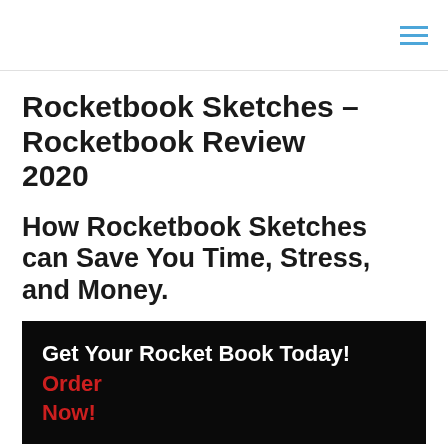[hamburger menu icon]
Rocketbook Sketches – Rocketbook Review 2020
How Rocketbook Sketches can Save You Time, Stress, and Money.
Get Your Rocket Book Today! Order Now!